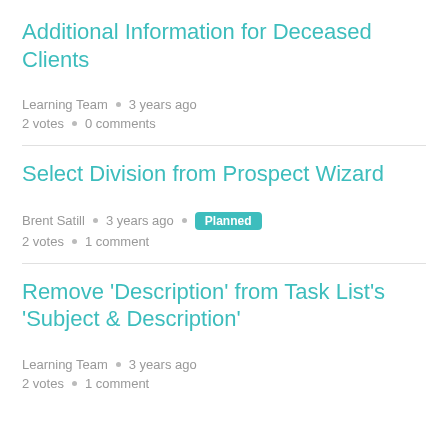Additional Information for Deceased Clients
Learning Team • 3 years ago
2 votes • 0 comments
Select Division from Prospect Wizard
Brent Satill • 3 years ago • Planned
2 votes • 1 comment
Remove 'Description' from Task List's 'Subject & Description'
Learning Team • 3 years ago
2 votes • 1 comment